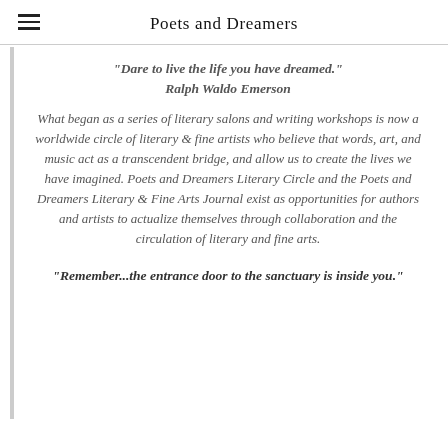Poets and Dreamers
"Dare to live the life you have dreamed." Ralph Waldo Emerson
What began as a series of literary salons and writing workshops is now a worldwide circle of literary & fine artists who believe that words, art, and music act as a transcendent bridge, and allow us to create the lives we have imagined. Poets and Dreamers Literary Circle and the Poets and Dreamers Literary & Fine Arts Journal exist as opportunities for authors and artists to actualize themselves through collaboration and the circulation of literary and fine arts.
"Remember...the entrance door to the sanctuary is inside you."